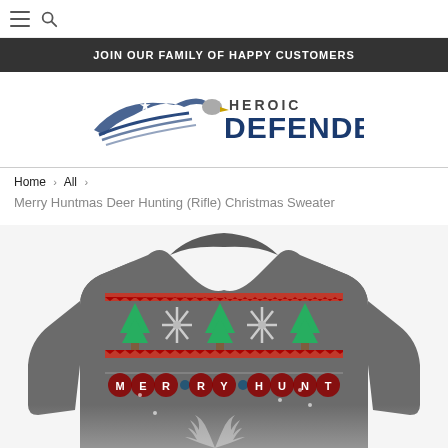Navigation bar with hamburger menu and search icon
JOIN OUR FAMILY OF HAPPY CUSTOMERS
[Figure (logo): Heroic Defender logo with eagle and bold text DEFENDER]
Home > All > Merry Huntmas Deer Hunting (Rifle) Christmas Sweater
[Figure (photo): Gray Christmas sweater with deer hunting holiday pattern showing trees, snowflakes, and Merry Huntmas text]